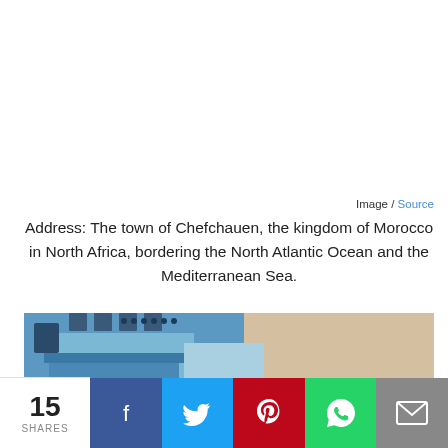Image / Source
Address: The town of Chefchauen, the kingdom of Morocco in North Africa, bordering the North Atlantic Ocean and the Mediterranean Sea.
[Figure (photo): Photograph showing blue-painted buildings of Chefchaouen, Morocco, with characteristic blue and white walls and a sandy stone wall on the right side.]
15 SHARES
[Figure (infographic): Social sharing bar with Facebook, Twitter, Pinterest, WhatsApp, and Email buttons]